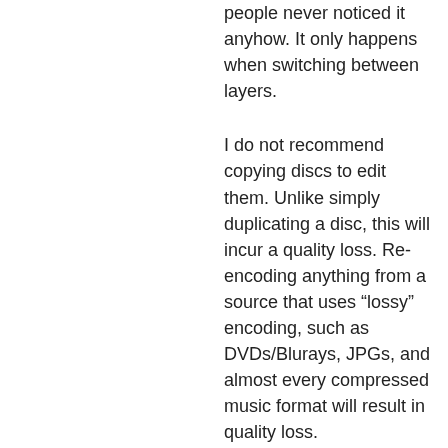people never noticed it anyhow. It only happens when switching between layers.
I do not recommend copying discs to edit them. Unlike simply duplicating a disc, this will incur a quality loss. Re-encoding anything from a source that uses “lossy” encoding, such as DVDs/Blurays, JPGs, and almost every compressed music format will result in quality loss.